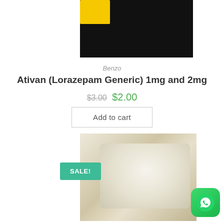[Figure (photo): Product photo top portion showing dark background with yellow packaging element]
Benzo
Ativan (Lorazepam Generic) 1mg and 2mg
$3.00 $2.00
Add to cart
[Figure (photo): Product photo showing white pills/tablets in a clear plastic bag with a SALE! badge overlay and WhatsApp button in bottom right corner]